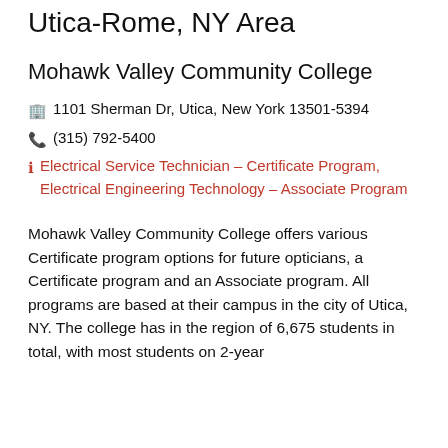Utica-Rome, NY Area
Mohawk Valley Community College
1101 Sherman Dr, Utica, New York 13501-5394
(315) 792-5400
Electrical Service Technician – Certificate Program, Electrical Engineering Technology – Associate Program
Mohawk Valley Community College offers various Certificate program options for future opticians, a Certificate program and an Associate program. All programs are based at their campus in the city of Utica, NY. The college has in the region of 6,675 students in total, with most students on 2-year